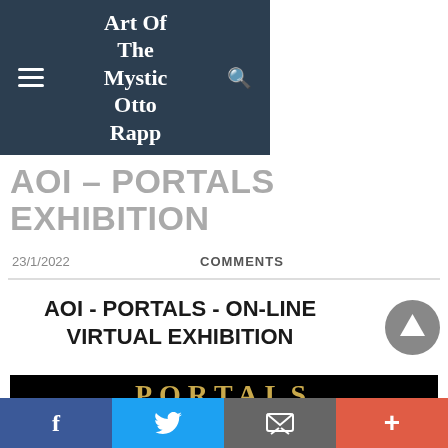Art Of The Mystic Otto Rapp
AOI – PORTALS EXHIBITION
23/1/2022
COMMENTS
AOI - PORTALS - ON-LINE VIRTUAL EXHIBITION
[Figure (screenshot): Black banner image reading PORTALS in gold letters, with subtitle EXHIBITION OF THE SOCIETY FOR ART OF IMAGINATION, and dates January 23 - March 15, 2022 and Zoom reception January 23, 2022 1:00 pm est]
f  (Twitter bird)  (envelope icon)  +